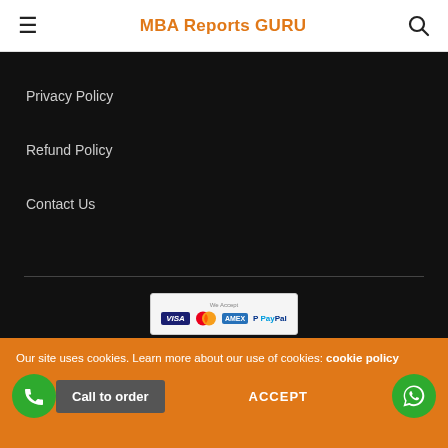MBA Reports GURU
Privacy Policy
Refund Policy
Contact Us
[Figure (other): Payment methods accepted: Visa, Mastercard, American Express, PayPal]
Our site uses cookies. Learn more about our use of cookies: cookie policy
Call to order
ACCEPT